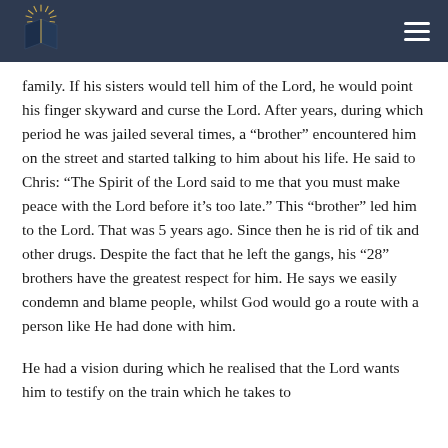[Figure (logo): Open book logo with sunburst rays above it, in navy blue, on dark navy header bar]
family. If his sisters would tell him of the Lord, he would point his finger skyward and curse the Lord. After years, during which period he was jailed several times, a “brother” encountered him on the street and started talking to him about his life. He said to Chris: “The Spirit of the Lord said to me that you must make peace with the Lord before it’s too late.” This “brother” led him to the Lord. That was 5 years ago. Since then he is rid of tik and other drugs. Despite the fact that he left the gangs, his “28” brothers have the greatest respect for him. He says we easily condemn and blame people, whilst God would go a route with a person like He had done with him.
He had a vision during which he realised that the Lord wants him to testify on the train which he takes to